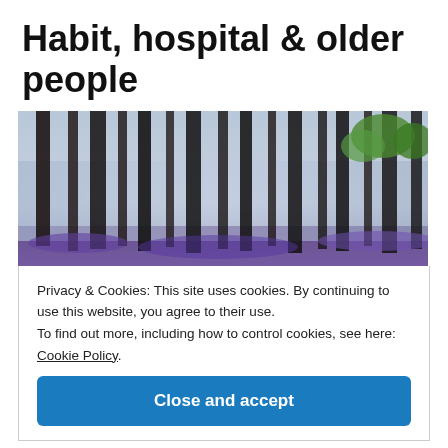Habit, hospital & older people
[Figure (photo): A misty forest with tall dark tree trunks and purple/blue ground cover, with green foliage visible on the right side]
Privacy & Cookies: This site uses cookies. By continuing to use this website, you agree to their use.
To find out more, including how to control cookies, see here: Cookie Policy.
Close and accept